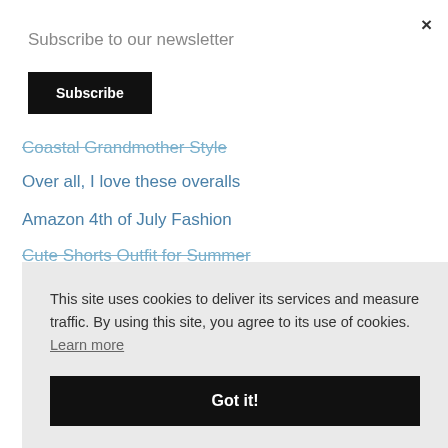×
Subscribe to our newsletter
Subscribe
Coastal Grandmother Style
Over all, I love these overalls
Amazon 4th of July Fashion
Cute Shorts Outfit for Summer
This site uses cookies to deliver its services and measure traffic. By using this site, you agree to its use of cookies. Learn more
Got it!